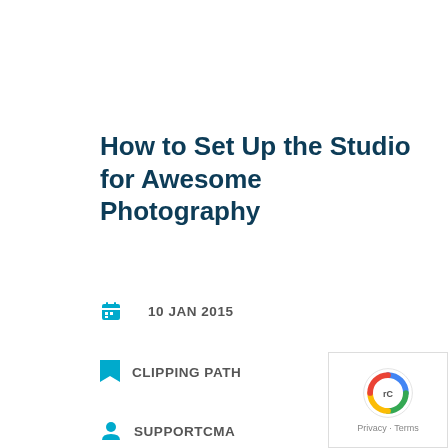How to Set Up the Studio for Awesome Photography
10 JAN 2015
CLIPPING PATH
SUPPORTCMA
We use cookies on our website to ensure best user experience. By clicking “Accept”, you consent to the use of ALL the cookies.
make sure
g the
etting